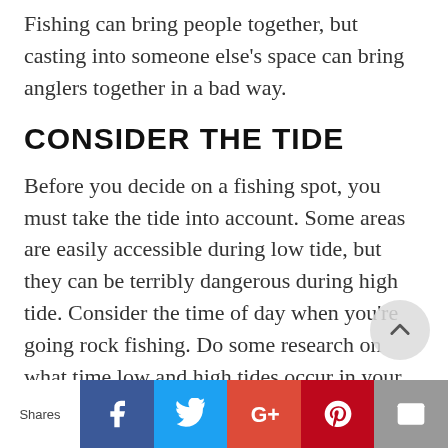Fishing can bring people together, but casting into someone else's space can bring anglers together in a bad way.
CONSIDER THE TIDE
Before you decide on a fishing spot, you must take the tide into account. Some areas are easily accessible during low tide, but they can be terribly dangerous during high tide. Consider the time of day when you're going rock fishing. Do some research on what time low and high tides occur in your chosen area. If you get to your spot and notice that the water level is rising, it is time to move to somewhere safer.
Shares | Facebook | Twitter | G+ | Pinterest | Email